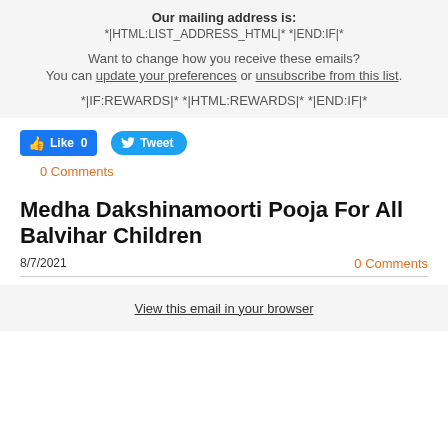Our mailing address is:
*|HTML:LIST_ADDRESS_HTML|* *|END:IF|*
Want to change how you receive these emails?
You can update your preferences or unsubscribe from this list.
*|IF:REWARDS|* *|HTML:REWARDS|* *|END:IF|*
[Figure (other): Facebook Like button showing count 0 and Twitter Tweet button]
0 Comments
Medha Dakshinamoorti Pooja For All Balvihar Children
8/7/2021
0 Comments
View this email in your browser